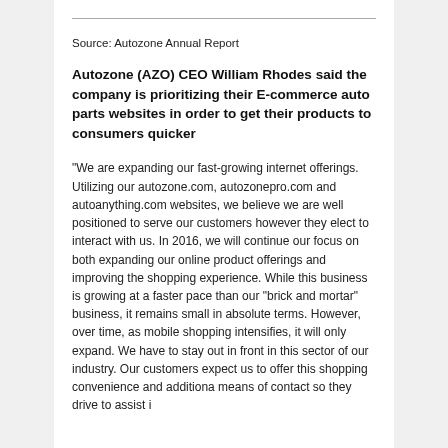Source: Autozone Annual Report
Autozone (AZO) CEO William Rhodes said the company is prioritizing their E-commerce auto parts websites in order to get their products to consumers quicker
“We are expanding our fast-growing internet offerings. Utilizing our autozone.com, autozonepro.com and autoanything.com websites, we believe we are well positioned to serve our customers however they elect to interact with us. In 2016, we will continue our focus on both expanding our online product offerings and improving the shopping experience. While this business is growing at a faster pace than our “brick and mortar” business, it remains small in absolute terms. However, over time, as mobile shopping intensifies, it will only expand. We have to stay out in front in this sector of our industry. Our customers expect us to offer this shopping convenience and additional means of contact so they drive to assist i